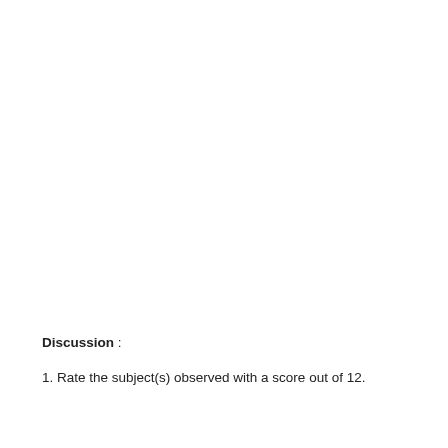Discussion :
1. Rate the subject(s) observed with a score out of 12.